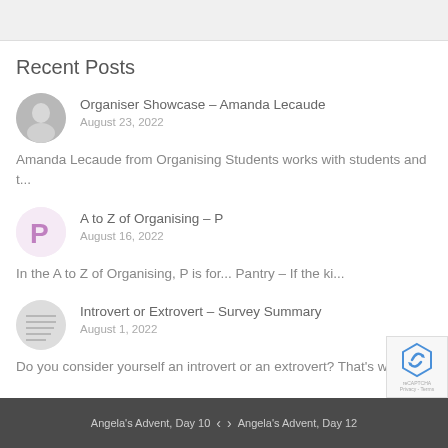[Figure (other): Top gray bar / image area]
Recent Posts
[Figure (photo): Circular avatar thumbnail of Amanda Lecaude]
Organiser Showcase – Amanda Lecaude
August 23, 2022
Amanda Lecaude from Organising Students works with students and t...
[Figure (illustration): Pink letter P icon for A to Z of Organising post]
A to Z of Organising – P
August 16, 2022
In the A to Z of Organising, P is for... Pantry – If the ki...
[Figure (photo): Circular thumbnail with lines/paper graphic for Introvert or Extrovert post]
Introvert or Extrovert – Survey Summary
August 1, 2022
Do you consider yourself an introvert or an extrovert? That's w...
Angela's Advent, Day 10   <   >   Angela's Advent, Day 12